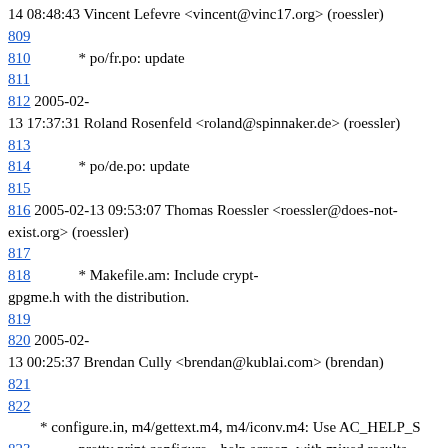14 08:48:43  Vincent Lefevre  <vincent@vinc17.org>  (roessler)
809
810        * po/fr.po: update
811
812 2005-02-13 17:37:31  Roland Rosenfeld  <roland@spinnaker.de>  (roessler)
813
814        * po/de.po: update
815
816 2005-02-13 09:53:07  Thomas Roessler  <roessler@does-not-exist.org>  (roessler)
817
818        * Makefile.am: Include crypt-gpgme.h with the distribution.
819
820 2005-02-13 00:25:37  Brendan Cully  <brendan@kublai.com>  (brendan)
821
822
* configure.in, m4/gettext.m4, m4/iconv.m4: Use AC_HELP_S
823        pretty print configure --help screen, with mixed results.
824
825 2005-02-12 21:04:22  Brendan Cully  <brendan@kublai.com>  (brendan)
826